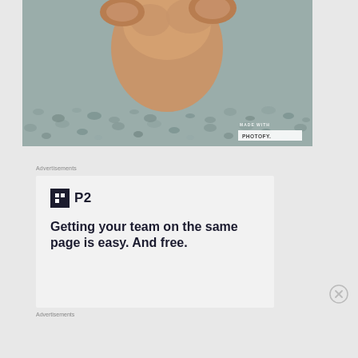[Figure (photo): Close-up photo of a golden/tan dog (likely a Chihuahua or similar small breed) looking down at the camera from above, on a gravel/pebble surface. 'MADE WITH PHOTOFY' watermark in bottom right corner.]
Advertisements
[Figure (screenshot): Advertisement for P2 (WordPress P2 team collaboration tool). Shows P2 logo (black square with white H-grid icon + 'P2' text) and headline text: 'Getting your team on the same page is easy. And free.']
Advertisements